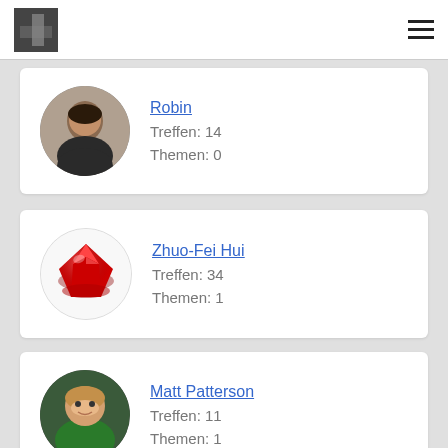App header with logo and hamburger menu
[Figure (photo): User profile card for Robin with circular photo of a young man]
Robin
Treffen: 14
Themen: 0
[Figure (photo): User profile card for Zhuo-Fei Hui with circular image of a red ruby gem]
Zhuo-Fei Hui
Treffen: 34
Themen: 1
[Figure (photo): User profile card for Matt Patterson with circular photo of a man]
Matt Patterson
Treffen: 11
Themen: 1